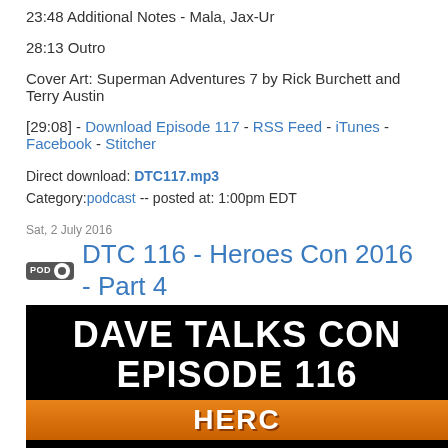23:48 Additional Notes - Mala, Jax-Ur
28:13 Outro
Cover Art: Superman Adventures 7 by Rick Burchett and Terry Austin
[29:08] - Download Episode 117 - RSS Feed - iTunes - Facebook - Stitcher
Direct download: DTC117.mp3
Category:podcast -- posted at: 1:00pm EDT
Sat, 2 July 2016
DTC 116 - Heroes Con 2016 - Part 4
[Figure (photo): Black background image showing 'DAVE TALKS CON' and 'EPISODE 116' in large white bold text, with an orange Heroes Con banner at the bottom]